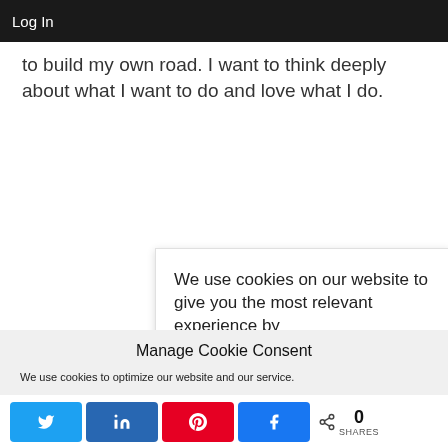Log In
to build my own road. I want to think deeply about what I want to do and love what I do.
We use cookies on our website to give you the most relevant experience by
Manage Cookie Consent
We use cookies to optimize our website and our service.